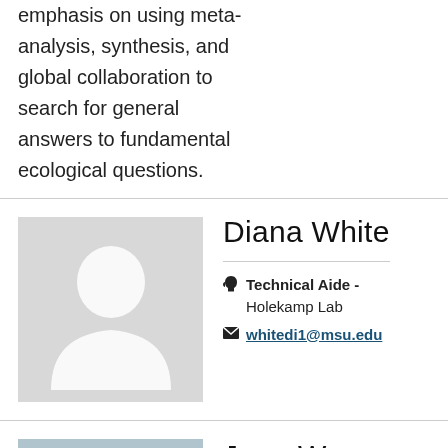emphasis on using meta-analysis, synthesis, and global collaboration to search for general answers to fundamental ecological questions.
Diana White
Technical Aide - Holekamp Lab
whitedi1@msu.edu
[Figure (photo): Default placeholder profile photo with silhouette on grey background]
[Figure (photo): Partial outdoor/landscape photo for Jana Woerner profile]
Jana Woerner